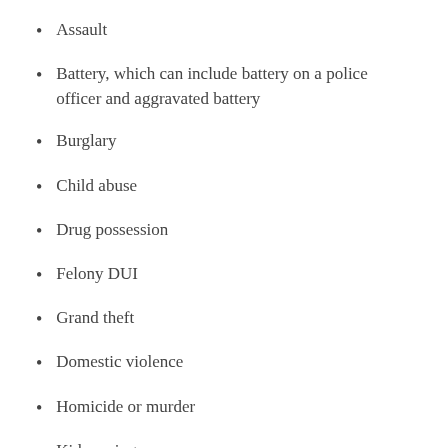Assault
Battery, which can include battery on a police officer and aggravated battery
Burglary
Child abuse
Drug possession
Felony DUI
Grand theft
Domestic violence
Homicide or murder
Kidnapping
Sex crimes, such as sexual battery, molestation, and rape